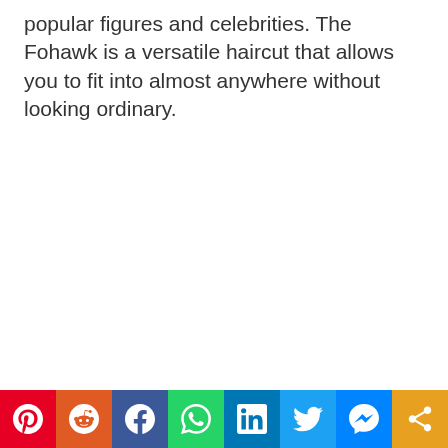popular figures and celebrities. The Fohawk is a versatile haircut that allows you to fit into almost anywhere without looking ordinary.
[Figure (other): Social sharing bar with icons for Pinterest, Reddit, Facebook, WhatsApp, LinkedIn, Twitter, Messenger, and Share]